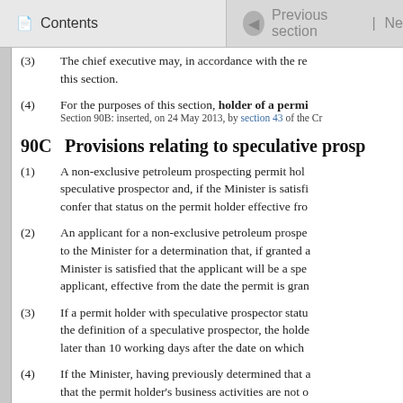Contents | Previous section | Ne
(3) The chief executive may, in accordance with the re this section.
(4) For the purposes of this section, holder of a permi
Section 90B: inserted, on 24 May 2013, by section 43 of the Cr
90C Provisions relating to speculative prosp
(1) A non-exclusive petroleum prospecting permit hol speculative prospector and, if the Minister is satisfi confer that status on the permit holder effective fro
(2) An applicant for a non-exclusive petroleum prospe to the Minister for a determination that, if granted a Minister is satisfied that the applicant will be a spe applicant, effective from the date the permit is gran
(3) If a permit holder with speculative prospector statu the definition of a speculative prospector, the holde later than 10 working days after the date on which
(4) If the Minister, having previously determined that a that the permit holder's business activities are not o because the holder is providing or selling data on a